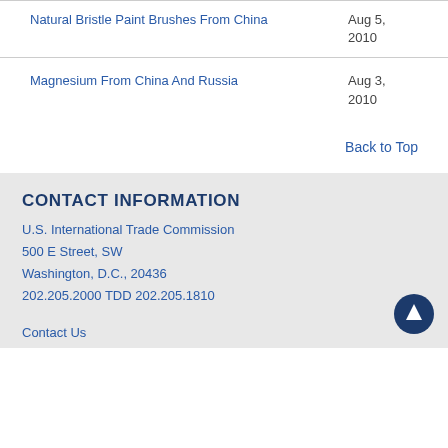Natural Bristle Paint Brushes From China — Aug 5, 2010
Magnesium From China And Russia — Aug 3, 2010
Back to Top
CONTACT INFORMATION
U.S. International Trade Commission
500 E Street, SW
Washington, D.C., 20436
202.205.2000 TDD 202.205.1810
Contact Us